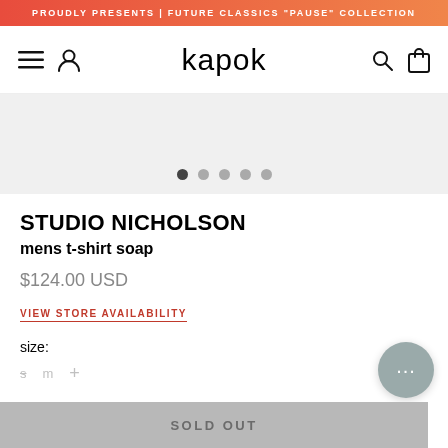PROUDLY PRESENTS | FUTURE CLASSICS "PAUSE" COLLECTION
[Figure (screenshot): Kapok store navigation bar with hamburger menu, user icon, kapok logo, search icon, and bag icon]
[Figure (other): Product image carousel area with 5 pagination dots, first dot active]
STUDIO NICHOLSON
mens t-shirt soap
$124.00 USD
VIEW STORE AVAILABILITY
size:
s
m
SOLD OUT